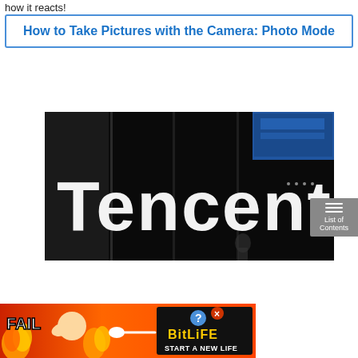how it reacts!
How to Take Pictures with the Camera: Photo Mode
[Figure (photo): Tencent logo sign — large white letters spelling 'Tencent' on a dark background, with blue architectural elements visible in the background]
[Figure (photo): Advertisement banner for BitLife game: 'FAIL' text with cartoon character, flames, BitLife logo with question mark and X button, 'START A NEW LIFE' tagline]